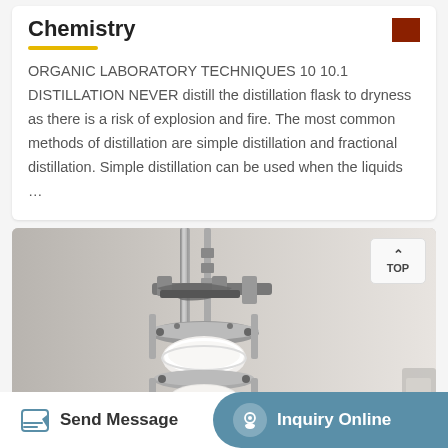Chemistry
ORGANIC LABORATORY TECHNIQUES 10 10.1 DISTILLATION NEVER distill the distillation flask to dryness as there is a risk of explosion and fire. The most common methods of distillation are simple distillation and fractional distillation. Simple distillation can be used when the liquids …
[Figure (photo): Close-up photograph of a laboratory distillation apparatus showing metal clamps, flanges, a white ceramic or PTFE component, and glass/metal flask connectors mounted on a vertical rod stand]
Send Message    Inquiry Online